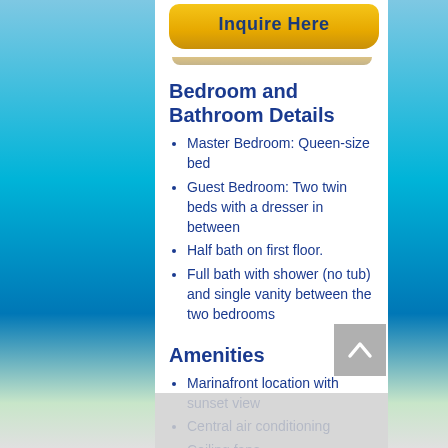[Figure (other): Yellow 'Inquire Here' button at top of content area]
Bedroom and Bathroom Details
Master Bedroom:  Queen-size bed
Guest Bedroom:  Two twin beds with a dresser in between
Half bath on first floor.
Full bath with shower (no tub) and single vanity between the two bedrooms
Amenities
Marinafront location with sunset view
Central air conditioning
Ceiling fans
Shared washer + dryer
Shared, heated freshwater swimming pool
Shared tenr...